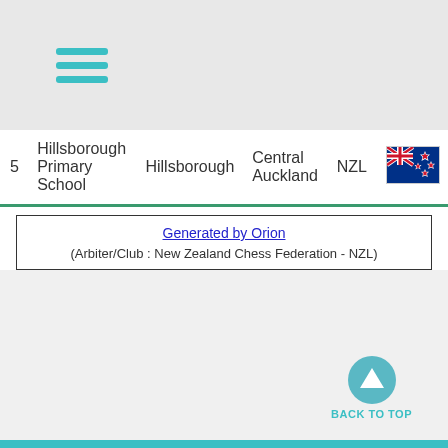[Figure (other): Hamburger menu icon with three teal horizontal lines]
| # | Name | Club | Region | Country | Flag |
| --- | --- | --- | --- | --- | --- |
| 5 | Hillsborough Primary School | Hillsborough | Central Auckland | NZL | [NZL flag] |
Generated by Orion
(Arbiter/Club : New Zealand Chess Federation - NZL)
[Figure (other): Back to top button — teal circle with upward triangle arrow and label BACK TO TOP]